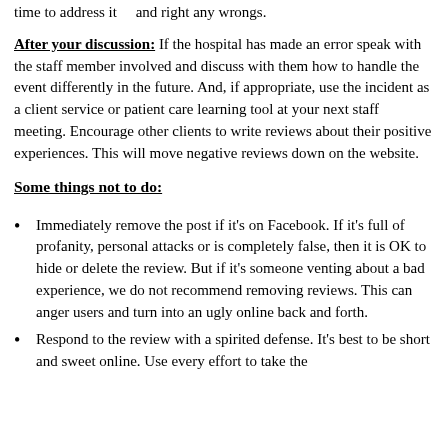time to address it    and right any wrongs.
After your discussion: If the hospital has made an error speak with the staff member involved and discuss with them how to handle the event differently in the future. And, if appropriate, use the incident as a client service or patient care learning tool at your next staff meeting. Encourage other clients to write reviews about their positive experiences. This will move negative reviews down on the website.
Some things not to do:
Immediately remove the post if it's on Facebook. If it's full of profanity, personal attacks or is completely false, then it is OK to hide or delete the review. But if it's someone venting about a bad experience, we do not recommend removing reviews. This can anger users and turn into an ugly online back and forth.
Respond to the review with a spirited defense. It's best to be short and sweet online. Use every effort to take the